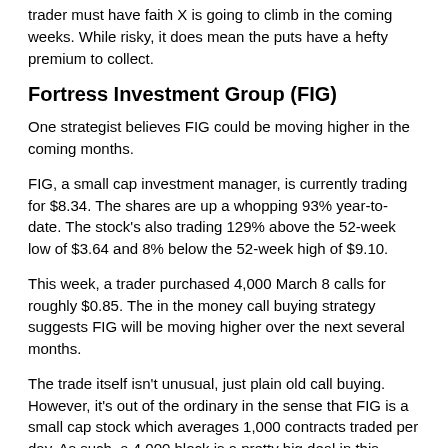trader must have faith X is going to climb in the coming weeks.  While risky, it does mean the puts have a hefty premium to collect.
Fortress Investment Group (FIG)
One strategist believes FIG could be moving higher in the coming months.
FIG, a small cap investment manager, is currently trading for $8.34.  The shares are up a whopping 93% year-to-date.  The stock's also trading 129% above the 52-week low of $3.64 and 8% below the 52-week high of $9.10.
This week, a trader purchased 4,000 March 8 calls for roughly $0.85.  The in the money call buying strategy suggests FIG will be moving higher over the next several months.
The trade itself isn't unusual, just plain old call buying.  However, it's out of the ordinary in the sense that FIG is a small cap stock which averages 1,000 contracts traded per day.  As such, a 4,000 block is a pretty big deal in this name.
More Options Ideas…